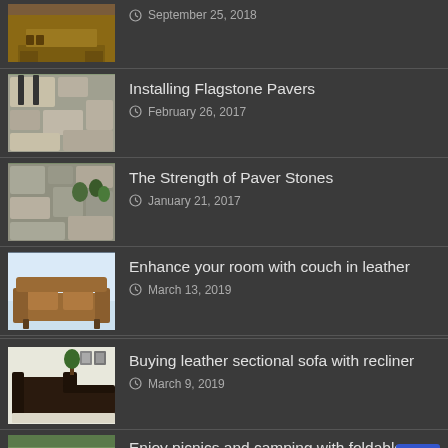September 25, 2018
Installing Flagstone Pavers
February 26, 2017
The Strength of Paver Stones
January 21, 2017
Enhance your room with couch in leather
March 13, 2019
Buying leather sectional sofa with recliner
March 9, 2019
Enjoy picnics and camping with foldable camping tables